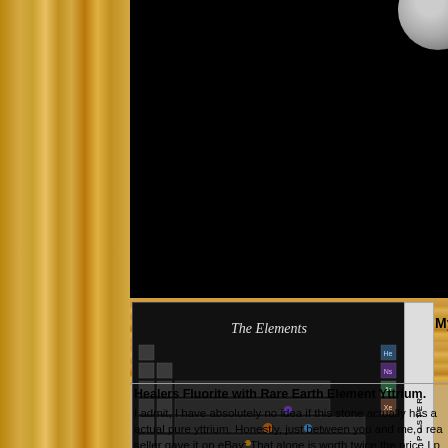[Figure (other): Black background banner area at top of page, partially showing a spherical object (moon/planet) in the upper right]
[Figure (photo): Periodic table poster titled 'The Elements' showing photographs of all elements arranged in periodic table format with element symbols He, Ns, Ar, Xe visible on right side. Vertical text 'BUY MY POSTER' on the right edge of the poster.]
My periodic tab
Healers Fluorite with Rare Earth Element Yttrium.
I admit, I have absolutely no idea if this stone actually has a actual pure yttrium. Honestly, just between you and me, I rea seller gave it on eBay: That alone is worth twice the price I p